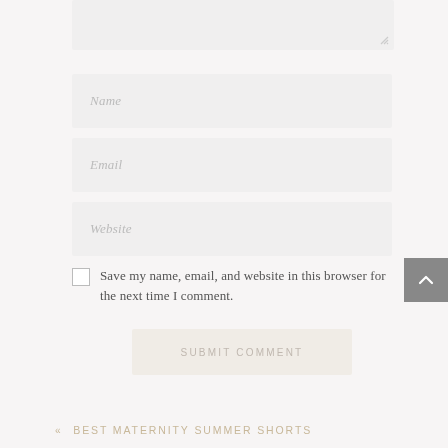[Figure (screenshot): Partial comment form textarea (top, cropped) with resize handle at bottom right]
Name
Email
Website
Save my name, email, and website in this browser for the next time I comment.
SUBMIT COMMENT
« BEST MATERNITY SUMMER SHORTS